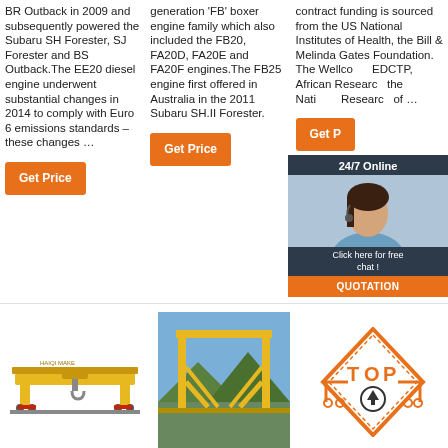BR Outback in 2009 and subsequently powered the Subaru SH Forester, SJ Forester and BS Outback.The EE20 diesel engine underwent substantial changes in 2014 to comply with Euro 6 emissions standards – these changes …
Get Price
generation 'FB' boxer engine family which also included the FB20, FA20D, FA20E and FA20F engines.The FB25 engine first offered in Australia in the 2011 Subaru SH.II Forester.
Get Price
contract funding is sourced from the US National Institutes of Health, the Bill & Melinda Gates Foundation. The Wellcome…EDCTP, African Research…the Nati…Research…of …
[Figure (photo): 24/7 Online chat overlay with woman wearing headset, and orange QUOTATION button]
Get P…
[Figure (photo): Yellow overhead bridge crane illustration]
[Figure (photo): Yellow gantry crane outdoors with mountain background]
[Figure (logo): Orange TOP logo with upward arrow icon and construction equipment]